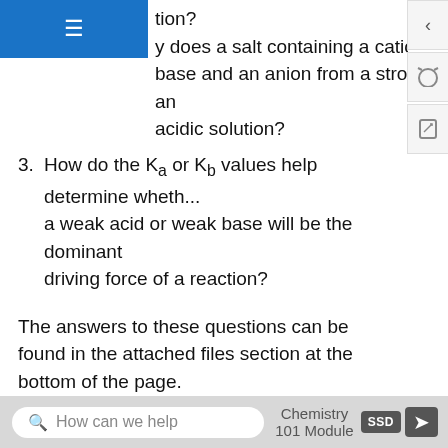Why does a salt containing a cation from a weak base and an anion from a strong acid form an acidic solution?
How do the Ka or Kb values help determine whether a weak acid or weak base will be the dominant driving force of a reaction?
The answers to these questions can be found in the attached files section at the bottom of the page.
References
Petrucci, Ralph H., William S. Harwood, F G. Herring, and Jeffry D. Madura. General Chemistry: Principles and Modern Applications. 9tth ed. Upper Saddle River, NJ: Pearson Prentice Hall, 2007.
How can we help    Chemistry 101 Module    SSD